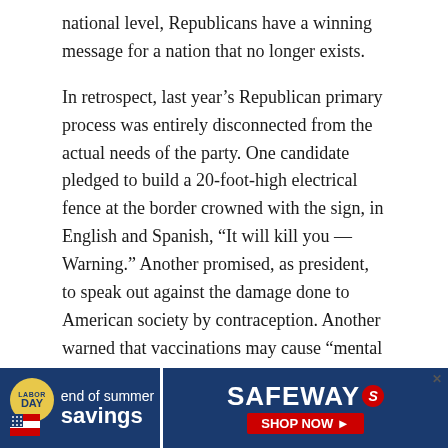national level, Republicans have a winning message for a nation that no longer exists.
In retrospect, last year’s Republican primary process was entirely disconnected from the actual needs of the party. One candidate pledged to build a 20-foot-high electrical fence at the border crowned with the sign, in English and Spanish, “It will kill you — Warning.” Another promised, as president, to speak out against the damage done to American society by contraception. Another warned that vaccinations may cause “mental retardation.” In the course of 20 debates and in tens of millions of dollars of ads, issues such as upward mobility, education, poverty, safer communities and the environment were rarely mentioned.
[Figure (other): Safeway 'End of Summer Savings' advertisement banner with Labor Day badge and Shop Now button]